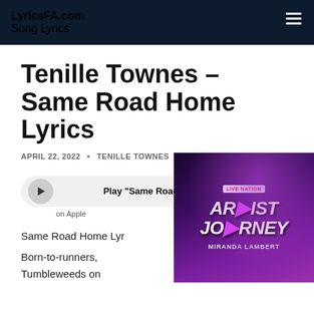LyricsFA.com
Song Lyrics
Tenille Townes – Same Road Home Lyrics
APRIL 22, 2022  •  TENILLE TOWNES
Play "Same Road Home"
on Apple
Same Road Home Lyr
Born-to-runners,
Tumbleweeds on
[Figure (screenshot): Live Nation Artist Journey Miranda Lambert advertisement overlay in bottom right corner]